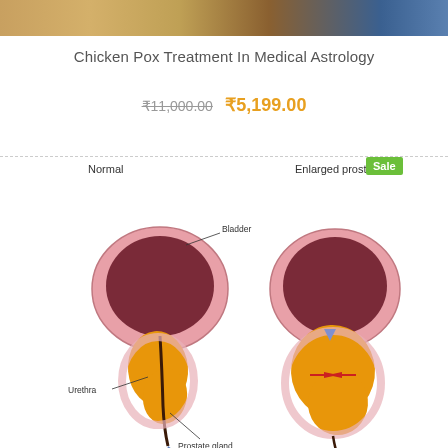[Figure (photo): Top image strip showing food/person background]
Chicken Pox Treatment In Medical Astrology
₹11,000.00 ₹5,199.00
[Figure (illustration): Medical illustration comparing normal prostate/bladder anatomy with enlarged prostate, showing bladder, urethra, and prostate gland labels on the normal side, and a Sale badge overlay near the enlarged prostate label.]